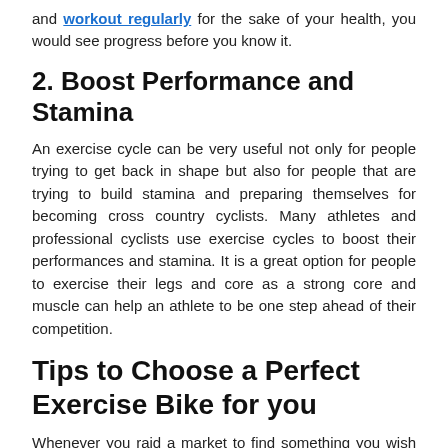and workout regularly for the sake of your health, you would see progress before you know it.
2. Boost Performance and Stamina
An exercise cycle can be very useful not only for people trying to get back in shape but also for people that are trying to build stamina and preparing themselves for becoming cross country cyclists. Many athletes and professional cyclists use exercise cycles to boost their performances and stamina. It is a great option for people to exercise their legs and core as a strong core and muscle can help an athlete to be one step ahead of their competition.
Tips to Choose a Perfect Exercise Bike for you
Whenever you raid a market to find something you wish to get the best out of your value, do some research and find the best available options. While purchasing an exercise bike there are many aspects you should consider. Here are some things to be